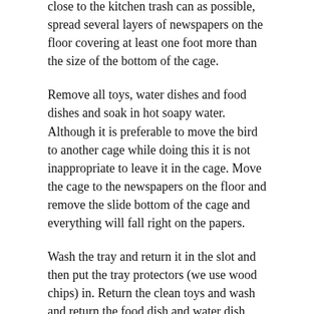close to the kitchen trash can as possible, spread several layers of newspapers on the floor covering at least one foot more than the size of the bottom of the cage.
Remove all toys, water dishes and food dishes and soak in hot soapy water. Although it is preferable to move the bird to another cage while doing this it is not inappropriate to leave it in the cage. Move the cage to the newspapers on the floor and remove the slide bottom of the cage and everything will fall right on the papers.
Wash the tray and return it in the slot and then put the tray protectors (we use wood chips) in. Return the clean toys and wash and return the food dish and water dish with fresh water and food. Return cage to where it belongs and just roll up the papers with all the crud on it and put it in the rubbish. End of clean up.